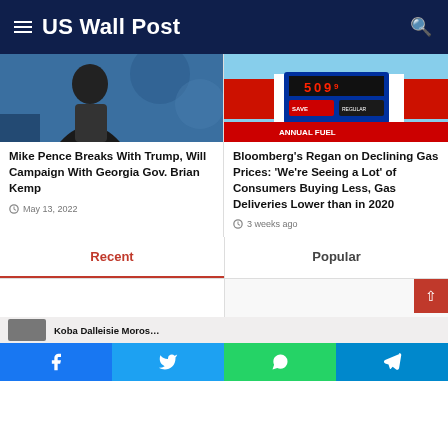US Wall Post
[Figure (photo): Photo of Mike Pence speaking at an event]
Mike Pence Breaks With Trump, Will Campaign With Georgia Gov. Brian Kemp
May 13, 2022
[Figure (photo): Photo of gas station price sign showing $5.09]
Bloomberg's Regan on Declining Gas Prices: 'We're Seeing a Lot' of Consumers Buying Less, Gas Deliveries Lower than in 2020
3 weeks ago
Recent
Popular